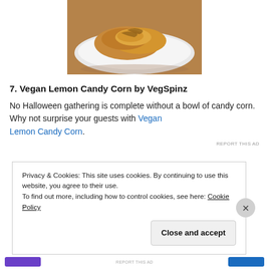[Figure (photo): A plate of food, appears to be pastry or baked goods on a white plate on a wooden surface, viewed from above and slightly to the side.]
7. Vegan Lemon Candy Corn by VegSpinz
No Halloween gathering is complete without a bowl of candy corn. Why not surprise your guests with Vegan Lemon Candy Corn.
REPORT THIS AD
Privacy & Cookies: This site uses cookies. By continuing to use this website, you agree to their use.
To find out more, including how to control cookies, see here: Cookie Policy
Close and accept